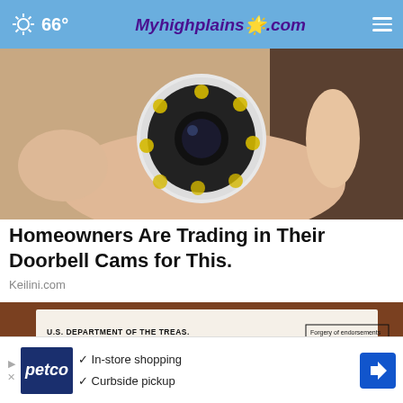66° Myhighplains.com
[Figure (photo): A hand holding a small white round security camera with multiple LED lights around a central lens]
Homeowners Are Trading in Their Doorbell Cams for This.
Keilini.com
[Figure (photo): US Department of the Treasury Bureau of the Fiscal Service check from Philadelphia Pennsylvania, showing numbers 04 24 20 2409880 KANSAS CITY, 08464928692 041 438494 I]
In-store shopping
Curbside pickup